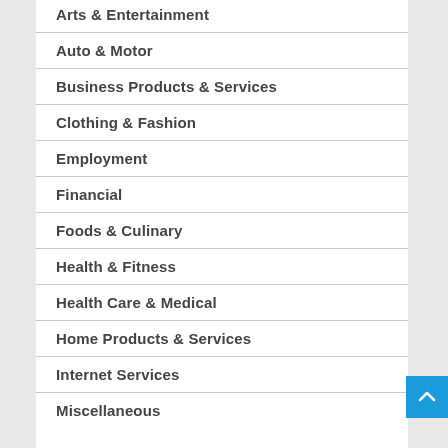Arts & Entertainment
Auto & Motor
Business Products & Services
Clothing & Fashion
Employment
Financial
Foods & Culinary
Health & Fitness
Health Care & Medical
Home Products & Services
Internet Services
Miscellaneous